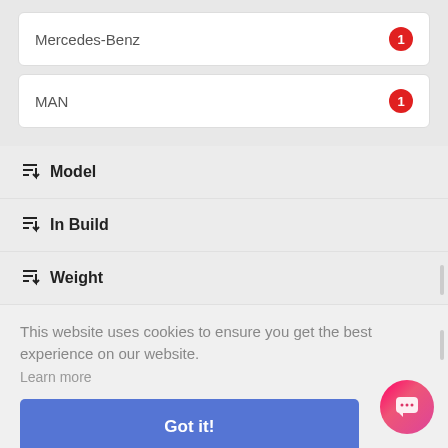Mercedes-Benz  1
MAN  1
Model
In Build
Weight
This website uses cookies to ensure you get the best experience on our website. Learn more
Got it!